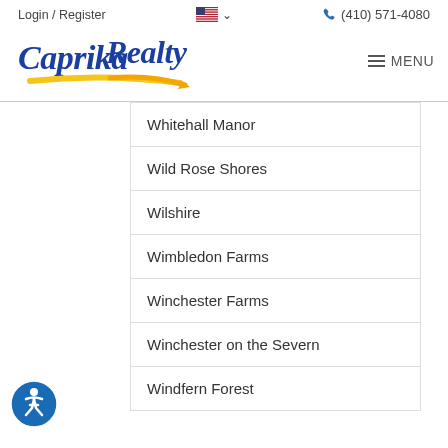Login / Register    (410) 571-4080
[Figure (logo): Caprika Realty logo with blue cursive text and yellow/orange swoosh underline]
Whitehall Manor
Wild Rose Shores
Wilshire
Wimbledon Farms
Winchester Farms
Winchester on the Severn
Windfern Forest